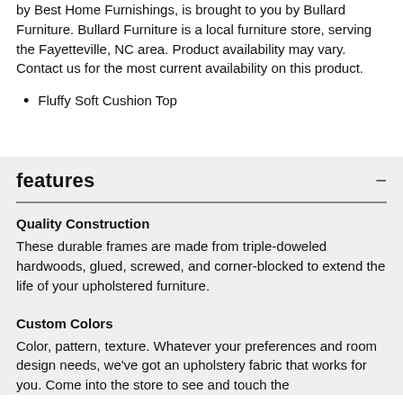by Best Home Furnishings, is brought to you by Bullard Furniture. Bullard Furniture is a local furniture store, serving the Fayetteville, NC area. Product availability may vary. Contact us for the most current availability on this product.
Fluffy Soft Cushion Top
features
Quality Construction
These durable frames are made from triple-doweled hardwoods, glued, screwed, and corner-blocked to extend the life of your upholstered furniture.
Custom Colors
Color, pattern, texture. Whatever your preferences and room design needs, we've got an upholstery fabric that works for you. Come into the store to see and touch the